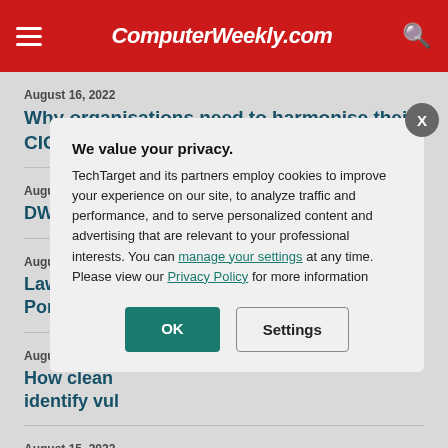ComputerWeekly.com
August 16, 2022
Why organisations need to harmonise their CIO and CISO roles
August 16, 2022
DWP looks
August 15, 2022
Lawyers and Pompeo ov
August 15, 2022
How clean identify vul
August 15, 2022
OneWeb ta multi-orbit
[Figure (screenshot): Privacy consent modal overlay on ComputerWeekly.com. Title: 'We value your privacy.' Body text: 'TechTarget and its partners employ cookies to improve your experience on our site, to analyze traffic and performance, and to serve personalized content and advertising that are relevant to your professional interests. You can manage your settings at any time. Please view our Privacy Policy for more information'. Buttons: OK (teal), Settings (outlined). Close button (X) top right.]